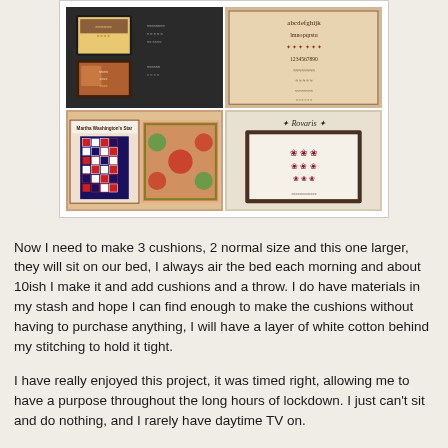[Figure (photo): A collage of four images showing cross-stitch and quilt patterns/books including 'Martha Washington's Star' quilt book and 'Rovaris' cross-stitch designs]
Now I need to make 3 cushions, 2 normal size and this one larger, they will sit on our bed, I always air the bed each morning and about 10ish I make it and add cushions and a throw. I do have materials in my stash and hope I can find enough to make the cushions without having to purchase anything, I will have a layer of white cotton behind my stitching to hold it tight.
I have really enjoyed this project, it was timed right, allowing me to have a purpose throughout the long hours of lockdown. I just can't sit and do nothing, and I rarely have daytime TV on.